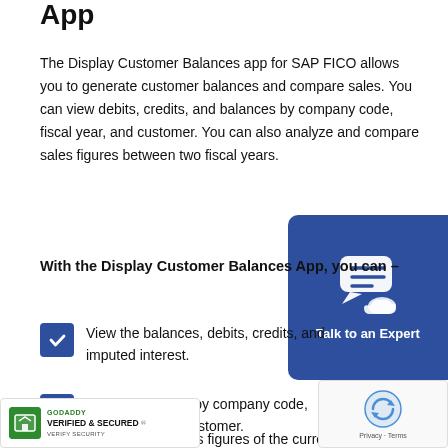App
The Display Customer Balances app for SAP FICO allows you to generate customer balances and compare sales. You can view debits, credits, and balances by company code, fiscal year, and customer. You can also analyze and compare sales figures between two fiscal years.
[Figure (illustration): Blue rounded rectangle button labeled 'Talk to an Expert' with a chat/speech bubble icon with a hand holding it, dark blue background.]
With the Display Customer Balances App, you can –
View the balances, debits, credits, and imputed interest.
Search balances by company code, fiscal year, and customer.
Compare the sales figures of the current and